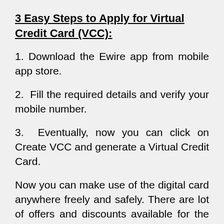3 Easy Steps to Apply for Virtual Credit Card (VCC):
1. Download the Ewire app from mobile app store.
2. Fill the required details and verify your mobile number.
3. Eventually, now you can click on Create VCC and generate a Virtual Credit Card.
Now you can make use of the digital card anywhere freely and safely. There are lot of offers and discounts available for the new users, this is a